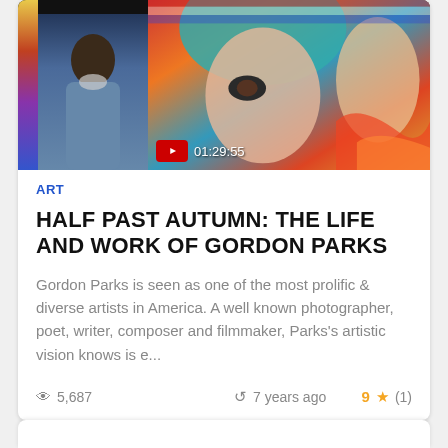[Figure (screenshot): Thumbnail images for a documentary video: left side shows a partial colorful abstract strip, center shows an elderly Black man with a white beard against a blue-grey sky background, right side shows a colorful mural painting of a woman with blue hair. A YouTube play button overlay shows duration 01:29:55.]
ART
HALF PAST AUTUMN: THE LIFE AND WORK OF GORDON PARKS
Gordon Parks is seen as one of the most prolific & diverse artists in America. A well known photographer, poet, writer, composer and filmmaker, Parks's artistic vision knows is e...
5,687   7 years ago   9 ★ (1)